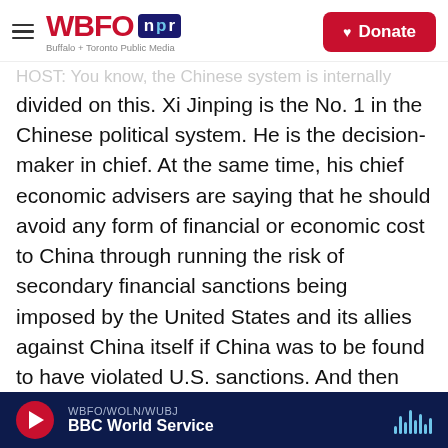WBFO NPR — Buffalo + Toronto Public Media | Donate
…HOST: You know, the Chinese system is internally divided on this. Xi Jinping is the No. 1 in the Chinese political system. He is the decision-maker in chief. At the same time, his chief economic advisers are saying that he should avoid any form of financial or economic cost to China through running the risk of secondary financial sanctions being imposed by the United States and its allies against China itself if China was to be found to have violated U.S. sanctions. And then finally, out in the world at large, you have in the court of international opinion China on the one hand saying it's defender of the U.N. charter and the U.N.
WBFO/WOLN/WUBJ — BBC World Service